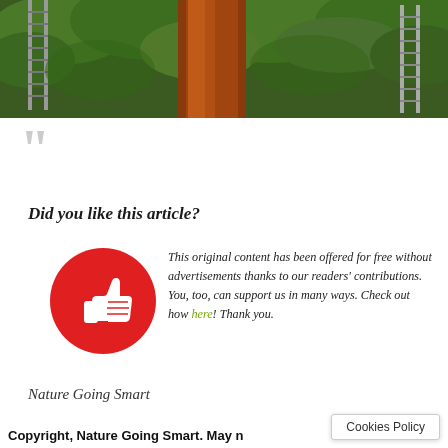[Figure (photo): Photograph showing tree trunks with reddish-brown bark and green foliage, with ladders visible on sides]
““
Did you like this article?
[Figure (illustration): Red circle with white thumbs-up icon]
This original content has been offered for free without advertisements thanks to our readers’ contributions. You, too, can support us in many ways. Check out how here! Thank you.
Nature Going Smart
Copyright, Nature Going Smart. May n
Cookies Policy